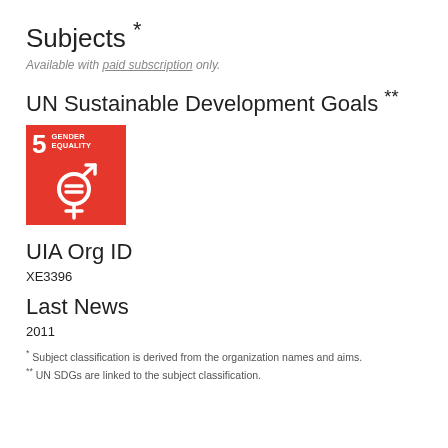Subjects *
Available with paid subscription only.
UN Sustainable Development Goals **
[Figure (logo): UN SDG Goal 5 - Gender Equality icon: red/orange square with number 5, text GENDER EQUALITY, and gender equality symbol (combined female and male symbol with equals sign).]
UIA Org ID
XE3396
Last News
2011
* Subject classification is derived from the organization names and aims.
** UN SDGs are linked to the subject classification.